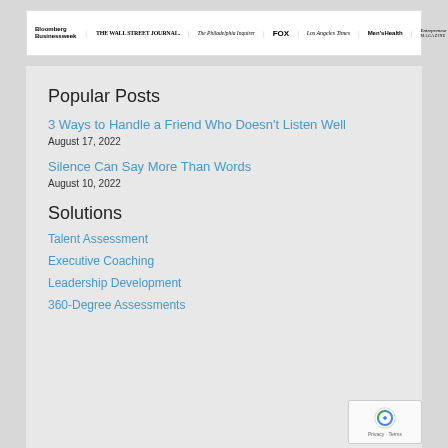[Figure (logo): Media logos bar showing Bloomberg Businessweek, The Wall Street Journal, The Philadelphia Inquirer, FOX, Los Angeles Times, Men's Health, Entrepreneur Magazine]
Popular Posts
3 Ways to Handle a Friend Who Doesn't Listen Well
August 17, 2022
Silence Can Say More Than Words
August 10, 2022
Solutions
Talent Assessment
Executive Coaching
Leadership Development
360-Degree Assessments